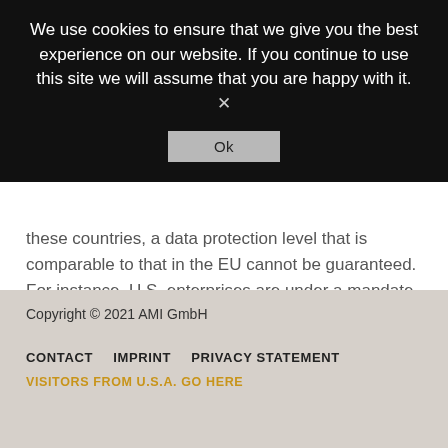We use cookies to ensure that we give you the best experience on our website. If you continue to use this site we will assume that you are happy with it. × Ok
these countries, a data protection level that is comparable to that in the EU cannot be guaranteed. For instance, U.S. enterprises are under a mandate to release personal data to the security agencies and you as the data subject do not have any litigation options to defend yourself in court. Hence, it cannot be ruled out that U.S. agencies (e.g., the Secret
Copyright © 2021 AMI GmbH
CONTACT  IMPRINT  PRIVACY STATEMENT
VISITORS FROM U.S.A. GO HERE